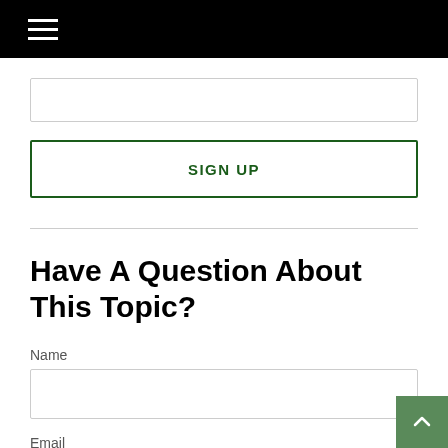[Figure (screenshot): Input text field (empty)]
SIGN UP
Have A Question About This Topic?
Name
[Figure (screenshot): Name input text field (empty)]
Email
[Figure (screenshot): Email input text field (empty)]